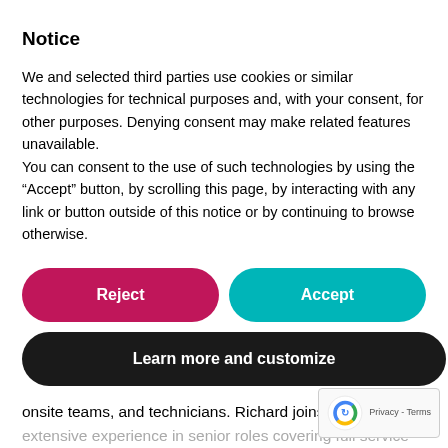Notice
We and selected third parties use cookies or similar technologies for technical purposes and, with your consent, for other purposes. Denying consent may make related features unavailable.
You can consent to the use of such technologies by using the “Accept” button, by scrolling this page, by interacting with any link or button outside of this notice or by continuing to browse otherwise.
[Figure (other): Reject button (pink/magenta pill-shaped button) and Accept button (teal/cyan pill-shaped button) side by side]
[Figure (other): Learn more and customize button (dark/black pill-shaped button)]
Paul Nelson and welcomed to AMSG our new GM for Specialist Cleaning Richard Grundy. Richard is already busy in his new role and says that “his feet haven’t touched the ground yet” getting to know our clients, onsite teams, and technicians. Richard joins us with extensive experience in senior roles covering full service